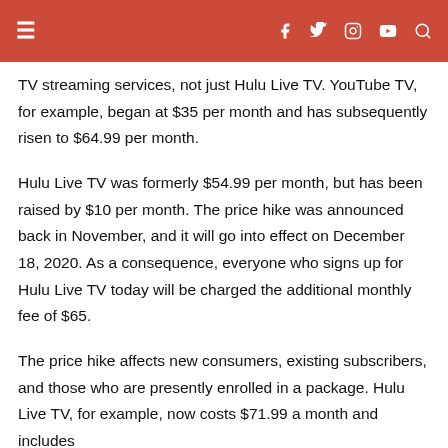≡  [icons: facebook, twitter, instagram, youtube, search]
TV streaming services, not just Hulu Live TV. YouTube TV, for example, began at $35 per month and has subsequently risen to $64.99 per month.
Hulu Live TV was formerly $54.99 per month, but has been raised by $10 per month. The price hike was announced back in November, and it will go into effect on December 18, 2020. As a consequence, everyone who signs up for Hulu Live TV today will be charged the additional monthly fee of $65.
The price hike affects new consumers, existing subscribers, and those who are presently enrolled in a package. Hulu Live TV, for example, now costs $71.99 a month and includes